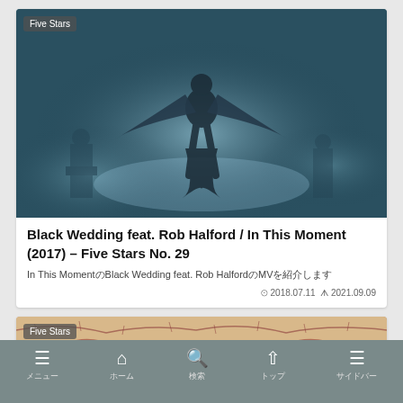[Figure (screenshot): Dark blue-toned concert/music video thumbnail showing silhouetted performer figure on stage with atmospheric lighting. Badge 'Five Stars' in top-left corner.]
Black Wedding feat. Rob Halford / In This Moment (2017) – Five Stars No. 29
In This MomentのBlack Wedding feat. Rob HalfordのMVを紹介します
⊙ 2018.07.11  ᗑ 2021.09.09
[Figure (screenshot): Partial thumbnail showing 'IN THIS MOMENT' stylized logo in red gothic lettering on a beige/tan background. Badge 'Five Stars' in top-left corner.]